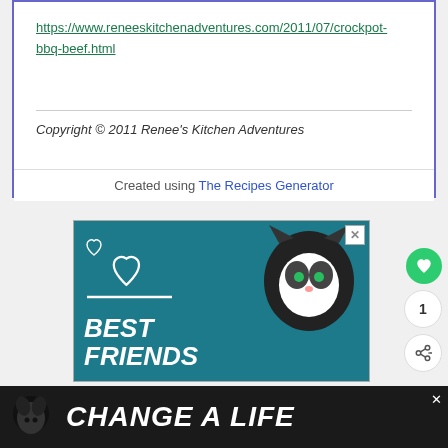https://www.reneeskitchenadventures.com/2011/07/crockpot-bbq-beef.html
Copyright © 2011 Renee's Kitchen Adventures
Created using The Recipes Generator
[Figure (photo): Advertisement banner with teal background showing a black and white cat, heart outlines, and text reading BEST FRIENDS]
[Figure (photo): Bottom advertisement bar with dark background showing a black dog and text CHANGE A LIFE]